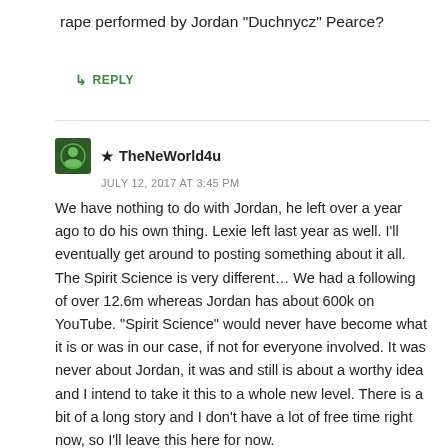rape performed by Jordan “Duchnycz” Pearce?
↳ REPLY
★ TheNeWorld4u
JULY 12, 2017 AT 3:45 PM
We have nothing to do with Jordan, he left over a year ago to do his own thing. Lexie left last year as well. I’ll eventually get around to posting something about it all. The Spirit Science is very different… We had a following of over 12.6m whereas Jordan has about 600k on YouTube. “Spirit Science” would never have become what it is or was in our case, if not for everyone involved. It was never about Jordan, it was and still is about a worthy idea and I intend to take it this to a whole new level. There is a bit of a long story and I don’t have a lot of free time right now, so I’ll leave this here for now.